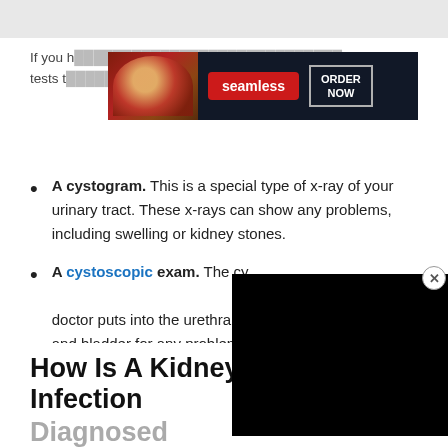If you h... more tests t... ude:
[Figure (screenshot): Seamless food delivery advertisement banner with pizza image, red 'seamless' button, and 'ORDER NOW' button on dark background]
A cystogram. This is a special type of x-ray of your urinary tract. These x-rays can show any problems, including swelling or kidney stones.
A cystoscopic exam. The cy... doctor puts into the urethra t... and bladder for any problems...
[Figure (screenshot): Black video overlay panel covering part of the page content]
Read Also: Flomax Dosage For ...
How Is A Kidney Infection Diagnosed